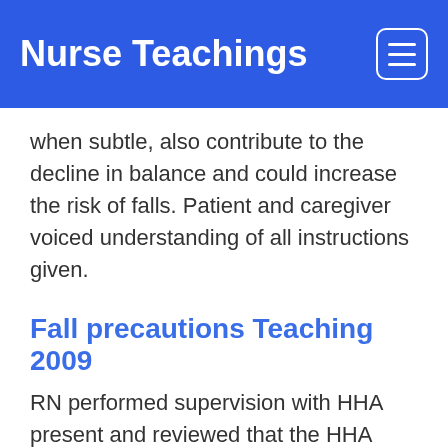Nurse Teachings
when subtle, also contribute to the decline in balance and could increase the risk of falls. Patient and caregiver voiced understanding of all instructions given.
Fall precautions Teaching 2009
RN performed supervision with HHA present and reviewed that the HHA Care Plan is followed as ordered. Patient is satisfied with